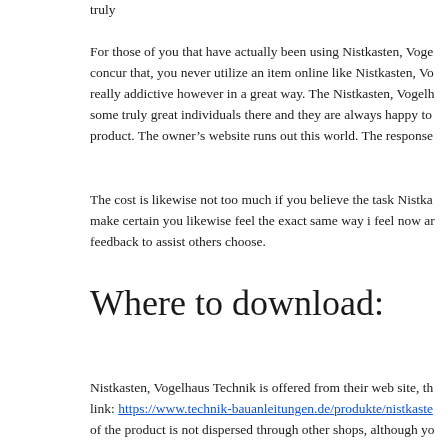truly
For those of you that have actually been using Nistkasten, Voge concur that, you never utilize an item online like Nistkasten, Vo really addictive however in a great way. The Nistkasten, Vogelh some truly great individuals there and they are always happy to product. The owner’s website runs out this world. The response
The cost is likewise not too much if you believe the task Nistka make certain you likewise feel the exact same way i feel now ar feedback to assist others choose.
Where to download:
Nistkasten, Vogelhaus Technik is offered from their web site, th link: https://www.technik-bauanleitungen.de/produkte/nistkaste of the product is not dispersed through other shops, although yo